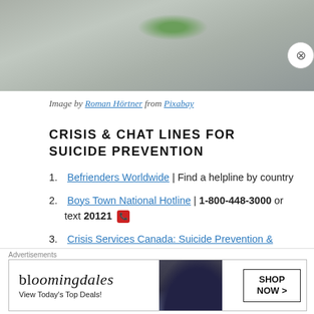[Figure (photo): Close-up photo of green plant growing on gray rocky surface]
Image by Roman Hörtner from Pixabay
CRISIS & CHAT LINES FOR SUICIDE PREVENTION
Befrienders Worldwide | Find a helpline by country
Boys Town National Hotline | 1-800-448-3000 or text 20121 📞
Crisis Services Canada: Suicide Prevention &
[Figure (screenshot): Bloomingdales advertisement banner: 'View Today's Top Deals!' with SHOP NOW button]